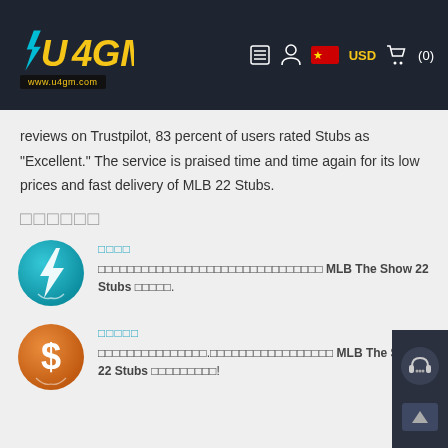U4GM www.u4gm.com — USD (0)
reviews on Trustpilot, 83 percent of users rated Stubs as "Excellent." The service is praised time and time again for its low prices and fast delivery of MLB 22 Stubs.
□□□□□□
□□□□
□□□□□□□□□□□□□□□□□□□□□□□□□□□□□□□ MLB The Show 22 Stubs □□□□□.
□□□□□
□□□□□□□□□□□□□□□.□□□□□□□□□□□□□□□□□ MLB The Show 22 Stubs □□□□□□□□□!